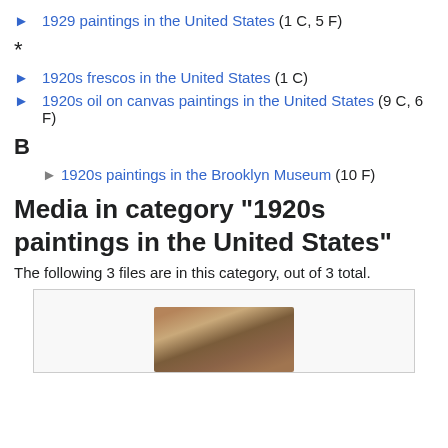1929 paintings in the United States (1 C, 5 F)
*
1920s frescos in the United States (1 C)
1920s oil on canvas paintings in the United States (9 C, 6 F)
B
1920s paintings in the Brooklyn Museum (10 F)
Media in category "1920s paintings in the United States"
The following 3 files are in this category, out of 3 total.
[Figure (photo): Partial image of a painting, showing figures in warm brown and red tones, bottom portion cut off.]